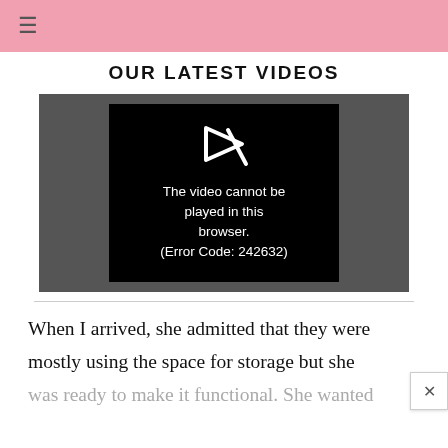≡
OUR LATEST VIDEOS
[Figure (screenshot): Video player showing error message: 'The video cannot be played in this browser. (Error Code: 242632)' with a broken video icon on a black background, surrounded by a dark gray outer frame.]
When I arrived, she admitted that they were mostly using the space for storage but she was ready to make it functional. She wanted